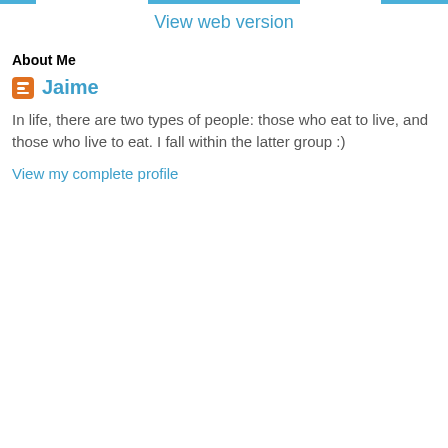View web version
About Me
Jaime
In life, there are two types of people: those who eat to live, and those who live to eat. I fall within the latter group :)
View my complete profile